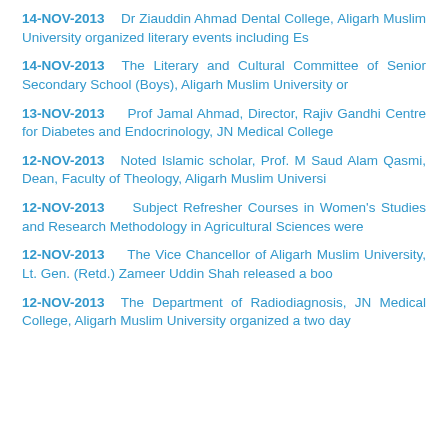14-NOV-2013   Dr Ziauddin Ahmad Dental College, Aligarh Muslim University organized literary events including Es
14-NOV-2013  The Literary and Cultural Committee of Senior Secondary School (Boys), Aligarh Muslim University or
13-NOV-2013    Prof Jamal Ahmad, Director, Rajiv Gandhi Centre for Diabetes and Endocrinology, JN Medical College
12-NOV-2013   Noted Islamic scholar, Prof. M Saud Alam Qasmi, Dean, Faculty of Theology, Aligarh Muslim Universi
12-NOV-2013    Subject Refresher Courses in Women's Studies and Research Methodology in Agricultural Sciences were
12-NOV-2013    The Vice Chancellor of Aligarh Muslim University, Lt. Gen. (Retd.) Zameer Uddin Shah released a boo
12-NOV-2013  The Department of Radiodiagnosis, JN Medical College, Aligarh Muslim University organized a two day